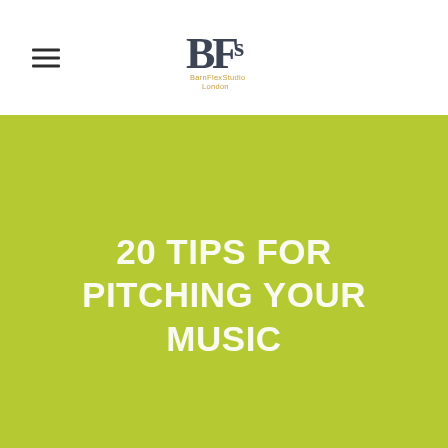[Figure (logo): BarnFlexStudio London logo — stylized BFs lettermark in dark grey with orange/gold colored text below reading BarnFlexStudio London]
20 TIPS FOR PITCHING YOUR MUSIC